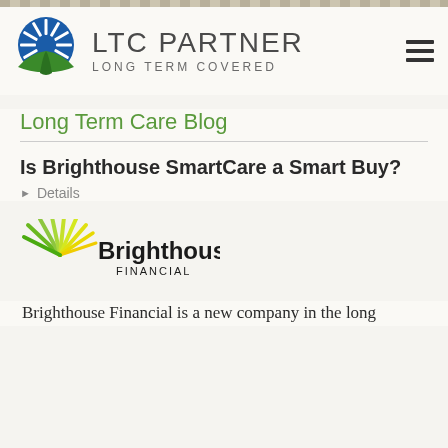[Figure (logo): LTC Partner - Long Term Covered logo with blue and green circular emblem and hamburger menu icon]
Long Term Care Blog
Is Brighthouse SmartCare a Smart Buy?
▶ Details
[Figure (logo): Brighthouse Financial logo with green starburst/fan icon and bold black text]
Brighthouse Financial is a new company in the long